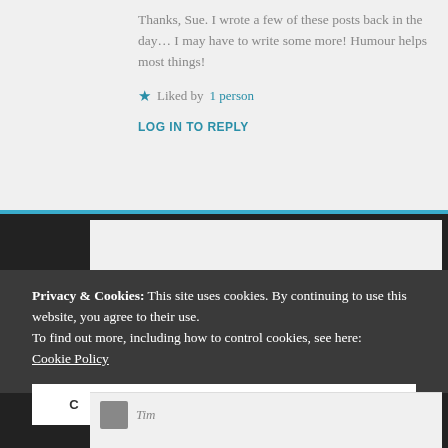Thanks, Sue. I wrote a few of these posts back in the day… I may have to write some more! Humour helps most things!
★ Liked by 1 person
LOG IN TO REPLY
Privacy & Cookies: This site uses cookies. By continuing to use this website, you agree to their use. To find out more, including how to control cookies, see here: Cookie Policy
CLOSE AND ACCEPT